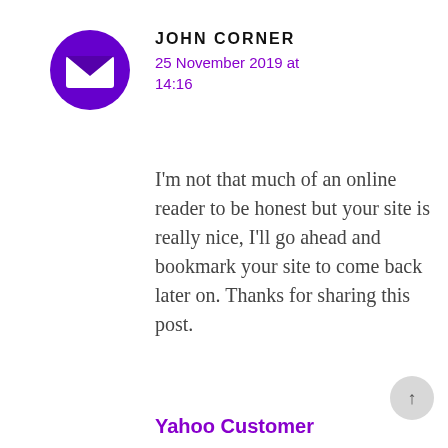[Figure (illustration): Purple circle avatar with white envelope icon inside]
JOHN CORNER
25 November 2019 at 14:16
I’m not that much of an online reader to be honest but your site is really nice, I’ll go ahead and bookmark your site to come back later on. Thanks for sharing this post.
Yahoo Customer